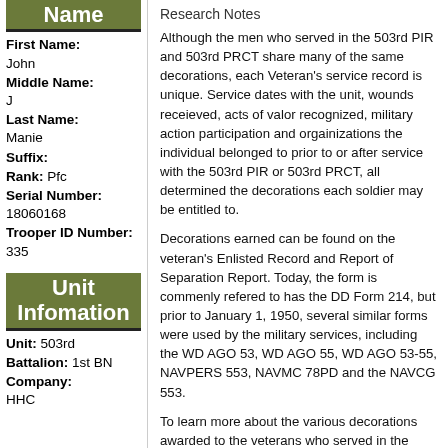Name
First Name: John
Middle Name: J
Last Name: Manie
Suffix:
Rank: Pfc
Serial Number: 18060168
Trooper ID Number: 335
Unit Infomation
Unit: 503rd
Battalion: 1st BN
Company: HHC
Research Notes
Although the men who served in the 503rd PIR and 503rd PRCT share many of the same decorations, each Veteran's service record is unique. Service dates with the unit, wounds receieved, acts of valor recognized, military action participation and orgainizations the individual belonged to prior to or after service with the 503rd PIR or 503rd PRCT, all determined the decorations each soldier may be entitled to.
Decorations earned can be found on the veteran's Enlisted Record and Report of Separation Report. Today, the form is commenly refered to has the DD Form 214, but prior to January 1, 1950, several similar forms were used by the military services, including the WD AGO 53, WD AGO 55, WD AGO 53-55, NAVPERS 553, NAVMC 78PD and the NAVCG 553.
To learn more about the various decorations awarded to the veterans who served in the 503rd PIR and 503rd